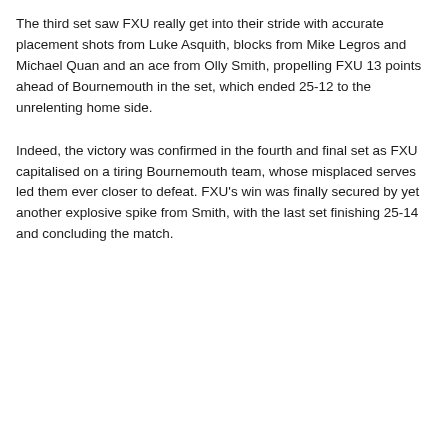The third set saw FXU really get into their stride with accurate placement shots from Luke Asquith, blocks from Mike Legros and Michael Quan and an ace from Olly Smith, propelling FXU 13 points ahead of Bournemouth in the set, which ended 25-12 to the unrelenting home side.
Indeed, the victory was confirmed in the fourth and final set as FXU capitalised on a tiring Bournemouth team, whose misplaced serves led them ever closer to defeat. FXU's win was finally secured by yet another explosive spike from Smith, with the last set finishing 25-14 and concluding the match.